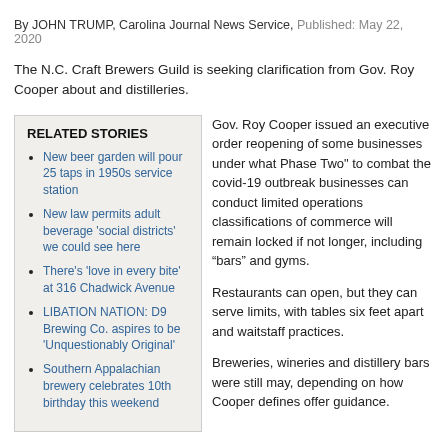By JOHN TRUMP, Carolina Journal News Service, Published: May 22, 2020
The N.C. Craft Brewers Guild is seeking clarification from Gov. Roy Cooper about and distilleries.
RELATED STORIES
New beer garden will pour 25 taps in 1950s service station
New law permits adult beverage 'social districts' we could see here
There's 'love in every bite' at 316 Chadwick Avenue
LIBATION NATION: D9 Brewing Co. aspires to be 'Unquestionably Original'
Southern Appalachian brewery celebrates 10th birthday this weekend
Gov. Roy Cooper issued an executive order reopening of some businesses under what Phase Two" to combat the covid-19 outbreak businesses can conduct limited operations classifications of commerce will remain locked if not longer, including "bars" and gyms.
Restaurants can open, but they can serve limits, with tables six feet apart and waitstaff practices.
Breweries, wineries and distillery bars were still may, depending on how Cooper defines offer guidance.
The Carolina Journal emailed the governor's office Thursday morning, asking for c breweries, wineries, and distilleries will be allowed to open and, if not, why. As of la Cooper's office failed to respond.